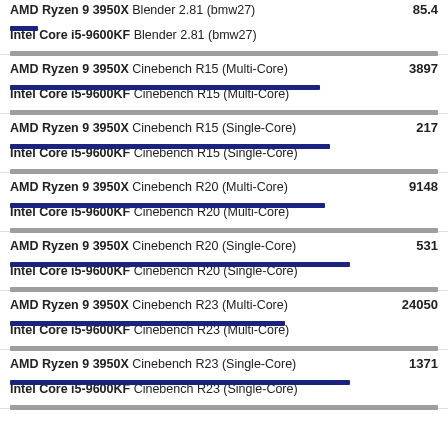AMD Ryzen 9 3950X Blender 2.81 (bmw27) 85.4 / Intel Core i5-9600KF Blender 2.81 (bmw27)
AMD Ryzen 9 3950X Cinebench R15 (Multi-Core) 3897 / Intel Core i5-9600KF Cinebench R15 (Multi-Core)
AMD Ryzen 9 3950X Cinebench R15 (Single-Core) 217 / Intel Core i5-9600KF Cinebench R15 (Single-Core)
AMD Ryzen 9 3950X Cinebench R20 (Multi-Core) 9148 / Intel Core i5-9600KF Cinebench R20 (Multi-Core)
AMD Ryzen 9 3950X Cinebench R20 (Single-Core) 531 / Intel Core i5-9600KF Cinebench R20 (Single-Core)
AMD Ryzen 9 3950X Cinebench R23 (Multi-Core) 24050 / Intel Core i5-9600KF Cinebench R23 (Multi-Core)
AMD Ryzen 9 3950X Cinebench R23 (Single-Core) 1371 / Intel Core i5-9600KF Cinebench R23 (Single-Core)